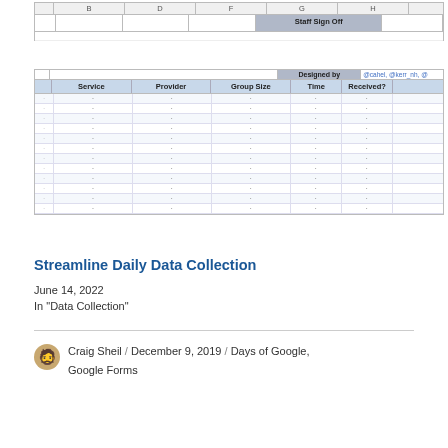[Figure (screenshot): Spreadsheet screenshot showing a table with 'Staff Sign Off' header row and another table below with columns: Service, Provider, Group Size, Time, Received? and a 'Designed by' merged cell with @cahel, @kerr_nh author tags. Multiple empty data rows with dot placeholders.]
Streamline Daily Data Collection
June 14, 2022
In "Data Collection"
Craig Sheil / December 9, 2019 / Days of Google, Google Forms